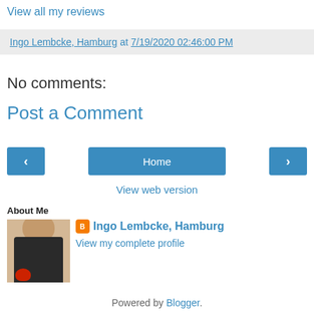View all my reviews
Ingo Lembcke, Hamburg at 7/19/2020 02:46:00 PM
No comments:
Post a Comment
‹  Home  ›
View web version
About Me
Ingo Lembcke, Hamburg
View my complete profile
Powered by Blogger.